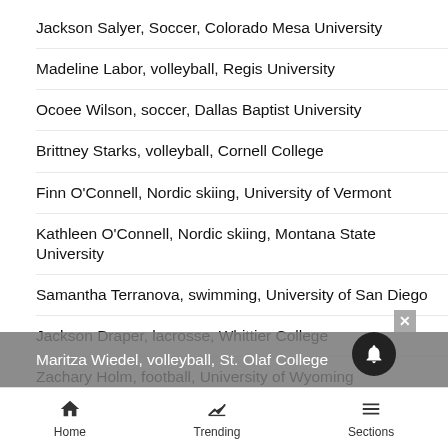Jackson Salyer, Soccer, Colorado Mesa University
Madeline Labor, volleyball, Regis University
Ocoee Wilson, soccer, Dallas Baptist University
Brittney Starks, volleyball, Cornell College
Finn O'Connell, Nordic skiing, University of Vermont
Kathleen O'Connell, Nordic skiing, Montana State University
Samantha Terranova, swimming, University of San Diego
Jackson Draper, lacrosse, Whittier College
Zachary Holm, football, University of Wyoming
Jordan Floyd, Nordic skiing, Montana State University
Maritza Wiedel, volleyball, St. Olaf College
Home   Trending   Sections